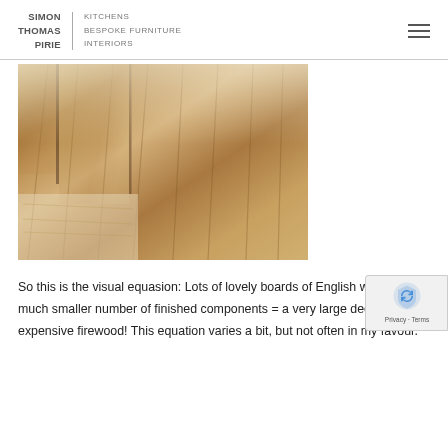SIMON THOMAS PIRIE | KITCHENS BESPOKE FURNITURE INTERIORS
[Figure (photo): Close-up photograph of multiple wooden boards of English walnut showing grain patterns, stacked and arranged flat, with natural warm brown tones and figuring in the wood.]
So this is the visual equasion: Lots of lovely boards of English walnut / a much smaller number of finished components = a very large deep box of expensive firewood! This equation varies a bit, but not often in my favour.